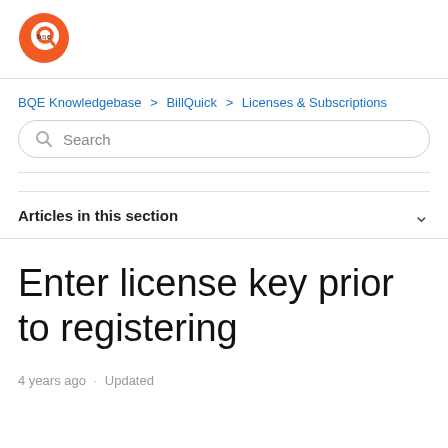[Figure (logo): BQE logo — orange circle with white Q shape and 'bqe' text in dark blue/orange]
BQE Knowledgebase > BillQuick > Licenses & Subscriptions
Search
Articles in this section
Enter license key prior to registering
4 years ago · Updated